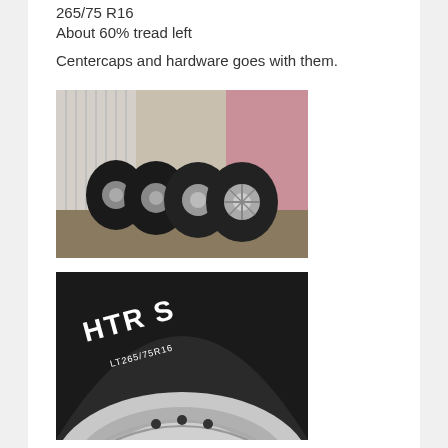265/75 R16
About 60% tread left
Centercaps and hardware goes with them.
[Figure (photo): Four truck tires with chrome rims leaning against a corrugated metal shed and pink wall outdoors on dirt ground.]
[Figure (photo): Close-up of a truck tire sidewall showing LT265/75R16 lettering and chrome rim detail.]